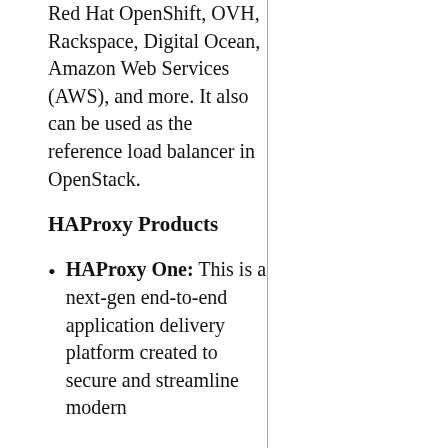Red Hat OpenShift, OVH, Rackspace, Digital Ocean, Amazon Web Services (AWS), and more. It also can be used as the reference load balancer in OpenStack.
HAProxy Products
HAProxy One: This is a next-gen end-to-end application delivery platform created to secure and streamline modern